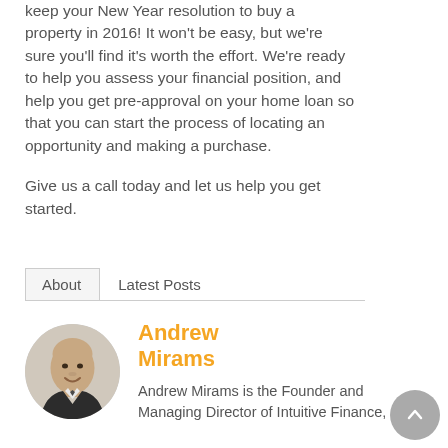keep your New Year resolution to buy a property in 2016! It won't be easy, but we're sure you'll find it's worth the effort. We're ready to help you assess your financial position, and help you get pre-approval on your home loan so that you can start the process of locating an opportunity and making a purchase.

Give us a call today and let us help you get started.
About   Latest Posts
[Figure (photo): Circular headshot photo of Andrew Mirams, a bald middle-aged man in a suit, smiling]
Andrew Mirams
Andrew Mirams is the Founder and Managing Director of Intuitive Finance,